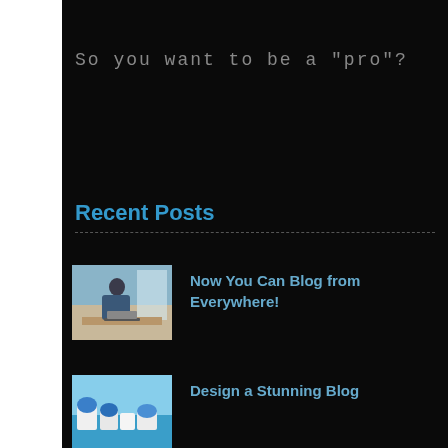So you want to be a "pro"?
Recent Posts
[Figure (photo): Man leaning over a desk working on a laptop, in a bright workspace]
Now You Can Blog from Everywhere!
[Figure (photo): Aerial view of white buildings on a cliffside with blue sea (Santorini-style)]
Design a Stunning Blog